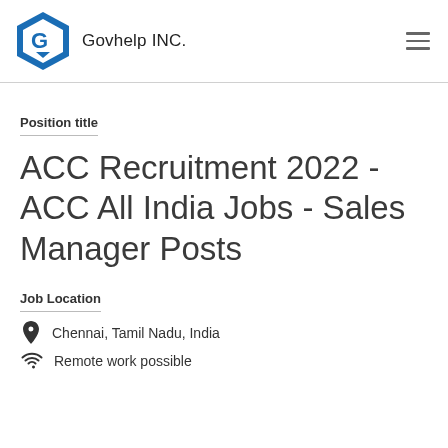Govhelp INC.
Position title
ACC Recruitment 2022 - ACC All India Jobs - Sales Manager Posts
Job Location
Chennai, Tamil Nadu, India
Remote work possible